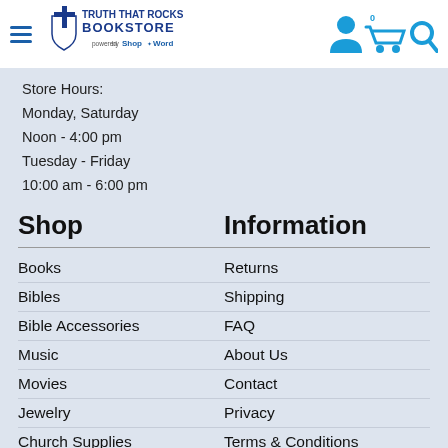[Figure (logo): Truth That Rocks Bookstore logo with cross and shield, powered by ShopTheWord]
Store Hours:
Monday, Saturday
Noon - 4:00 pm
Tuesday - Friday
10:00 am - 6:00 pm
Shop
Books
Bibles
Bible Accessories
Music
Movies
Jewelry
Church Supplies
Clothing & Apparel
Information
Returns
Shipping
FAQ
About Us
Contact
Privacy
Terms & Conditions
Cancellations